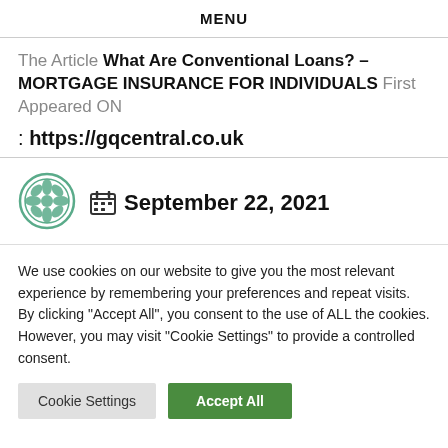MENU
The Article What Are Conventional Loans? – MORTGAGE INSURANCE FOR INDIVIDUALS First Appeared ON : https://gqcentral.co.uk
September 22, 2021
We use cookies on our website to give you the most relevant experience by remembering your preferences and repeat visits. By clicking "Accept All", you consent to the use of ALL the cookies. However, you may visit "Cookie Settings" to provide a controlled consent.